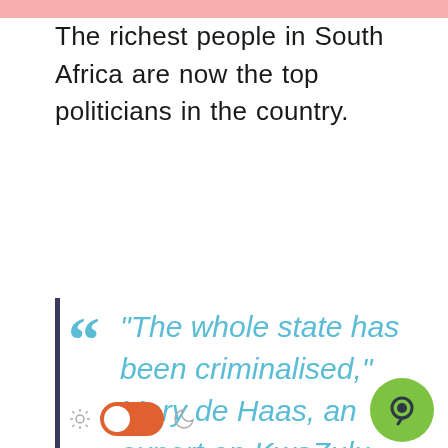The richest people in South Africa are now the top politicians in the country.
“The whole state has been criminalised,” Mary de Haas, an expert on KwaZulu-Natal’s